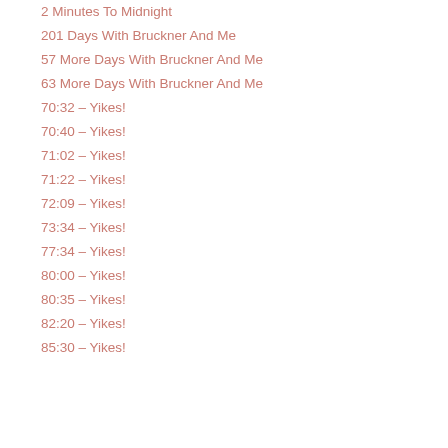2 Minutes To Midnight
201 Days With Bruckner And Me
57 More Days With Bruckner And Me
63 More Days With Bruckner And Me
70:32 – Yikes!
70:40 – Yikes!
71:02 – Yikes!
71:22 – Yikes!
72:09 – Yikes!
73:34 – Yikes!
77:34 – Yikes!
80:00 – Yikes!
80:35 – Yikes!
82:20 – Yikes!
85:30 – Yikes!